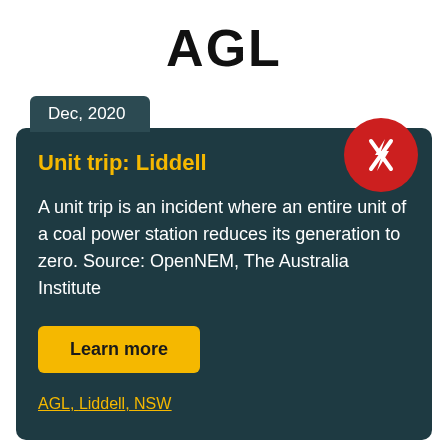AGL
Dec, 2020
[Figure (illustration): Red circle with a white lightning bolt / power off icon]
Unit trip: Liddell
A unit trip is an incident where an entire unit of a coal power station reduces its generation to zero. Source: OpenNEM, The Australia Institute
Learn more
AGL, Liddell, NSW